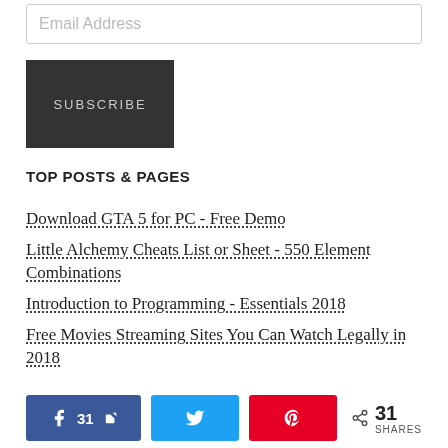Email Address
SUBSCRIBE
TOP POSTS & PAGES
Download GTA 5 for PC - Free Demo
Little Alchemy Cheats List or Sheet - 550 Element Combinations
Introduction to Programming - Essentials 2018
Free Movies Streaming Sites You Can Watch Legally in 2018
31  SHARES